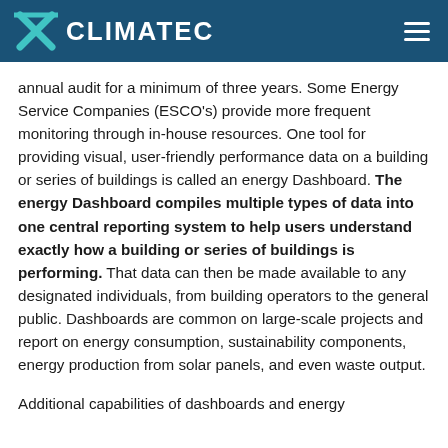CLIMATEC
annual audit for a minimum of three years. Some Energy Service Companies (ESCO's) provide more frequent monitoring through in-house resources. One tool for providing visual, user-friendly performance data on a building or series of buildings is called an energy Dashboard. The energy Dashboard compiles multiple types of data into one central reporting system to help users understand exactly how a building or series of buildings is performing. That data can then be made available to any designated individuals, from building operators to the general public. Dashboards are common on large-scale projects and report on energy consumption, sustainability components, energy production from solar panels, and even waste output.
Additional capabilities of dashboards and energy